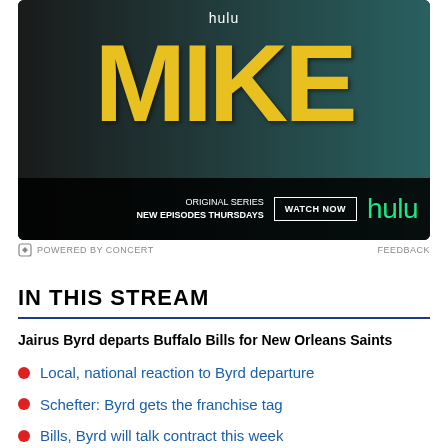[Figure (screenshot): Hulu advertisement for 'MIKE' original series. Shows large yellow MIKE text on dark background with a person. Bottom bar reads 'ORIGINAL SERIES NEW EPISODES THURSDAYS' with a 'WATCH NOW' button and Hulu logo in green.]
POWERED BY CONCERT    FEEDBACK
IN THIS STREAM
Jairus Byrd departs Buffalo Bills for New Orleans Saints
Local, national reaction to Byrd departure
Schefter: Byrd gets the franchise tag
Bills, Byrd will talk contract this week